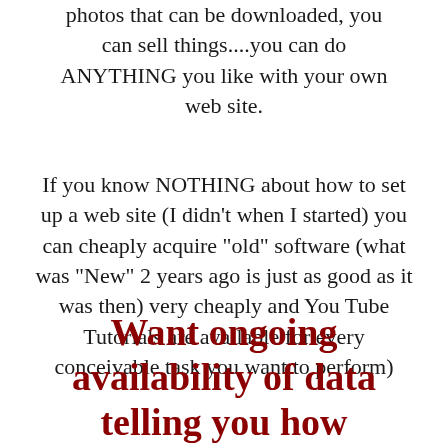photos that can be downloaded, you can sell things....you can do ANYTHING you like with your own web site.
If you know NOTHING about how to set up a web site (I didn't when I started) you can cheaply acquire "old" software (what was "New" 2 years ago is just as good as it was then) very cheaply and You Tube Tutorials are available for every conceivable task you want to perform)
Want ongoing availability of data telling you how